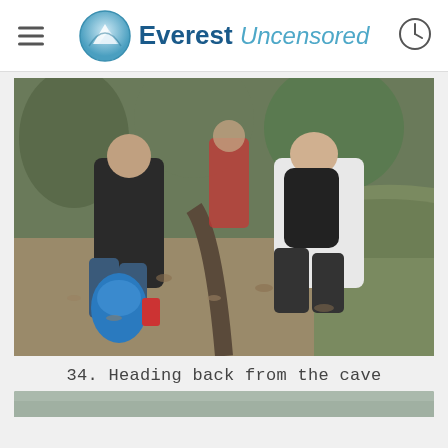Everest Uncensored
[Figure (photo): People heading back from a cave in a forested area. One person in a black jacket holds a blue bag, another wears a backpack and light jacket, positioned near a mossy earthen edge or trench among dry leaves and trees.]
34. Heading back from the cave
[Figure (photo): Partial view of next photo strip at the bottom of the page.]